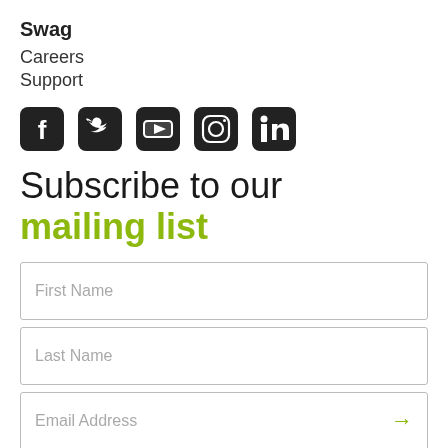Swag
Careers
Support
[Figure (illustration): Row of five social media icons: Facebook, Twitter, YouTube, Instagram, LinkedIn — all dark rounded square style]
Subscribe to our mailing list
First Name
Last Name
Email Address